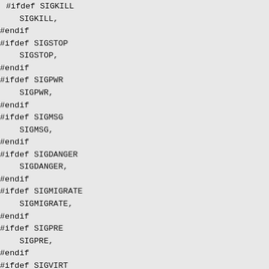#ifdef SIGKILL
    SIGKILL,
#endif
#ifdef SIGSTOP
    SIGSTOP,
#endif
#ifdef SIGPWR
    SIGPWR,
#endif
#ifdef SIGMSG
    SIGMSG,
#endif
#ifdef SIGDANGER
    SIGDANGER,
#endif
#ifdef SIGMIGRATE
    SIGMIGRATE,
#endif
#ifdef SIGPRE
    SIGPRE,
#endif
#ifdef SIGVIRT
    SIGVIRT,
#endif
#ifdef SIGGRANT
    SIGGRANT,
#endif
#ifdef SIGRETRACT
    SIGRETRACT,
#endif